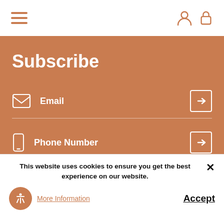[Figure (screenshot): Navigation bar with hamburger menu icon on left and user/lock icons on right]
Subscribe
Email
Phone Number
This website uses cookies to ensure you get the best experience on our website.
More Information
Accept